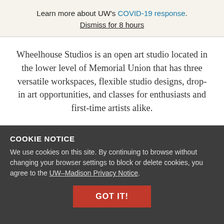Learn more about UW's COVID-19 response.
Dismiss for 8 hours
Wheelhouse Studios is an open art studio located in the lower level of Memorial Union that has three versatile workspaces, flexible studio designs, drop-in art opportunities, and classes for enthusiasts and first-time artists alike.
COOKIE NOTICE
We use cookies on this site. By continuing to browse without changing your browser settings to block or delete cookies, you agree to the UW–Madison Privacy Notice.
GOT IT!
Wisconsin Union Decorative Arts Committee
The WUD Art Committee is dedicated to bringing novel and challenging art to the Wisconsin Union and advancing visual art in the Madison community. The committee selects, installs and accessibly presents